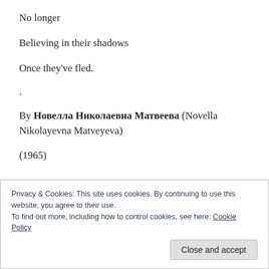No longer
Believing in their shadows
Once they've fled.
.
By Новелла Николаевна Матвеева (Novella Nikolayevna Matveyeva)
(1965)
Privacy & Cookies: This site uses cookies. By continuing to use this website, you agree to their use.
To find out more, including how to control cookies, see here: Cookie Policy
Close and accept